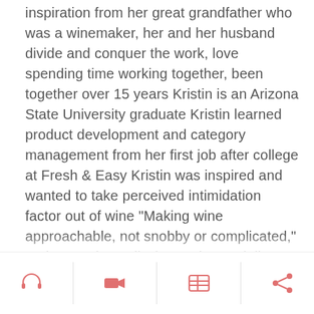inspiration from her great grandfather who was a winemaker, her and her husband divide and conquer the work, love spending time working together, been together over 15 years Kristin is an Arizona State University graduate Kristin learned product development and category management from her first job after college at Fresh & Easy Kristin was inspired and wanted to take perceived intimidation factor out of wine “Making wine approachable, not snobby or complicated,” and wanted to sell wine under 10 dollars a bottle Trademarked Happy Hour wine by calling the guy who owned the rights, he didn’t want to sell so she called him every month for over a year asking him to sell her the trademark, he was 92 years old and she was in her early 20s
[Figure (other): Bottom navigation bar with four icons: headphones, video camera, grid/news, and share icons in pink/salmon color, separated by vertical dividers]